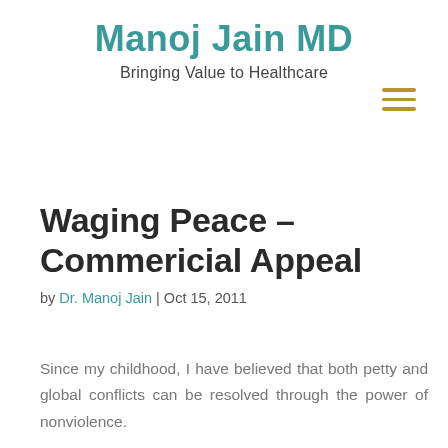Manoj Jain MD
Bringing Value to Healthcare
Waging Peace – Commericial Appeal
by Dr. Manoj Jain | Oct 15, 2011
Since my childhood, I have believed that both petty and global conflicts can be resolved through the power of nonviolence.